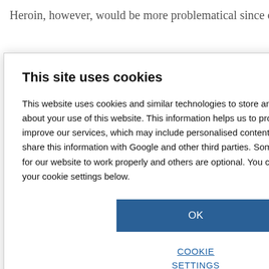Heroin, however, would be more problematical since one of its
ospital use of
e to have an
Zuccato. Steve
[Figure (screenshot): Cookie consent modal dialog overlay on a web page. Title: 'This site uses cookies'. Body: 'This website uses cookies and similar technologies to store and retrieve information about your use of this website. This information helps us to provide, analyse and improve our services, which may include personalised content or advertising. We may share this information with Google and other third parties. Some cookies are necessary for our website to work properly and others are optional. You can review and configure your cookie settings below.' Blue OK button. 'COOKIE SETTINGS' link below.]
leaks
[Figure (photo): Laboratory equipment (HPLC or similar chromatography system) against a yellow background]